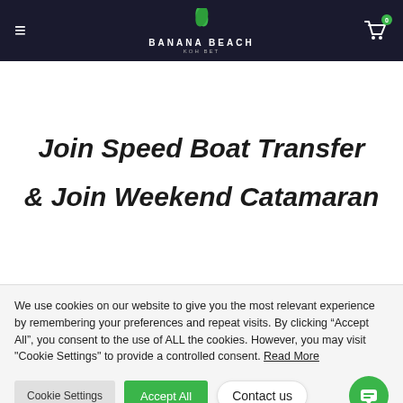BANANA BEACH KOH BET
Join Speed Boat Transfer & Join Weekend Catamaran
We use cookies on our website to give you the most relevant experience by remembering your preferences and repeat visits. By clicking “Accept All”, you consent to the use of ALL the cookies. However, you may visit "Cookie Settings" to provide a controlled consent. Read More